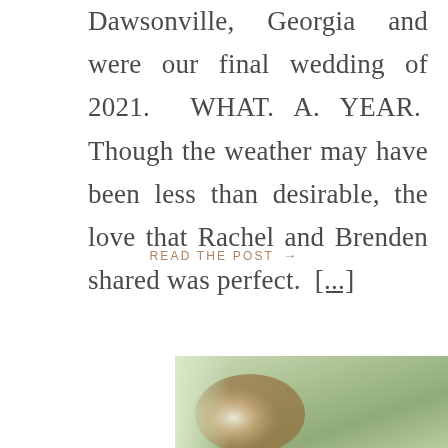Dawsonville, Georgia and were our final wedding of 2021. WHAT. A. YEAR. Though the weather may have been less than desirable, the love that Rachel and Brenden shared was perfect. [...]
READ THE POST →
[Figure (photo): Partially visible photograph of what appears to be a nature/outdoor wedding scene with greenery and blurred background]